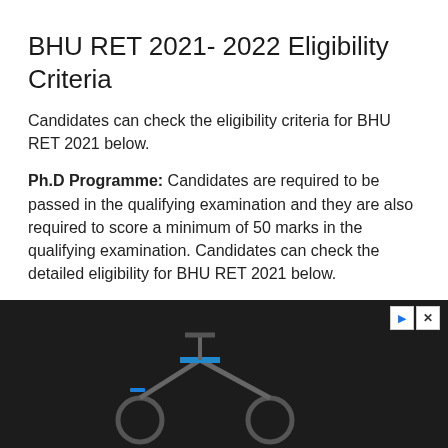BHU RET 2021- 2022 Eligibility Criteria
Candidates can check the eligibility criteria for BHU RET 2021 below.
Ph.D Programme: Candidates are required to be passed in the qualifying examination and they are also required to score a minimum of 50 marks in the qualifying examination. Candidates can check the detailed eligibility for BHU RET 2021 below.
Faculty of Agriculture: For admission to the agriculture courses candidates are required to have passed any
[Figure (other): Advertisement banner for Helbiz showing a scooter image with text 'Download Helbiz and ride' and close/skip buttons in the top right corner.]